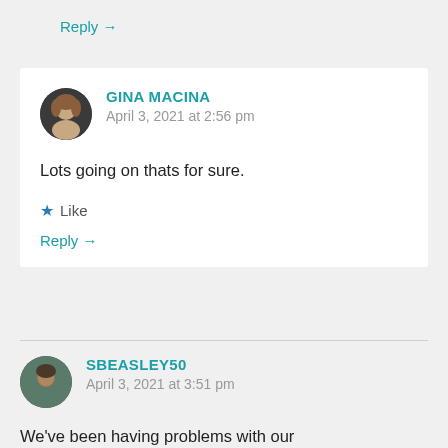Reply →
GINA MACINA
April 3, 2021 at 2:56 pm

Lots going on thats for sure.

★ Like

Reply →
SBEASLEY50
April 3, 2021 at 3:51 pm

We've been having problems with our